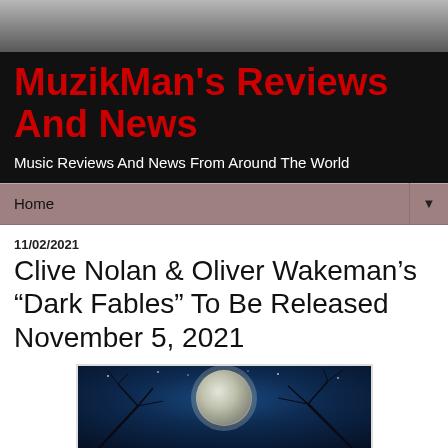MuzikMan's Reviews And News
Music Reviews And News From Around The World
Home
11/02/2021
Clive Nolan & Oliver Wakeman's “Dark Fables” To Be Released November 5, 2021
[Figure (illustration): Dark fantasy illustration showing a large full moon through bare winter trees against a deep blue night sky with stars]